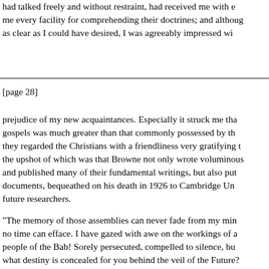had talked freely and without restraint, had received me with every facility for comprehending their doctrines; and although as clear as I could have desired, I was agreeably impressed wi
[page 28]
prejudice of my new acquaintances. Especially it struck me that gospels was much greater than that commonly possessed by they regarded the Christians with a friendliness very gratifying the upshot of which was that Browne not only wrote voluminous and published many of their fundamental writings, but also put documents, bequeathed on his death in 1926 to Cambridge Un future researchers.
"The memory of those assemblies can never fade from my min no time can efface. I have gazed with awe on the workings of a people of the Bab! Sorely persecuted, compelled to silence, bu what destiny is concealed for you behind the veil of the Future? of the human psyche which persuaded him that a great new rel realize that Babism, and Behaism its offshoot, for all their glori